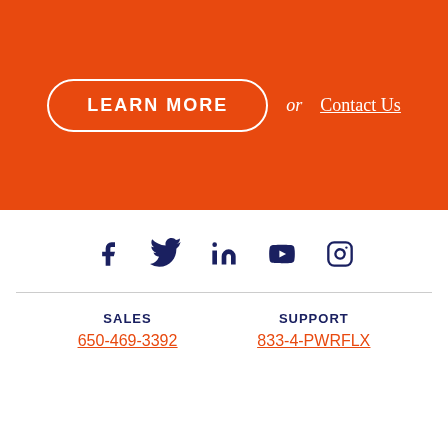[Figure (infographic): Orange banner with LEARN MORE button and Contact Us link]
[Figure (infographic): Social media icons: Facebook, Twitter, LinkedIn, YouTube, Instagram]
SALES
650-469-3392
SUPPORT
833-4-PWRFLX